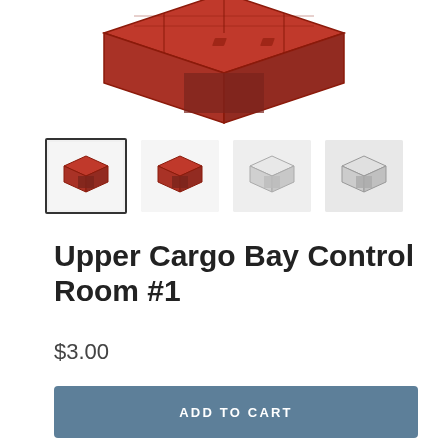[Figure (photo): 3D printed red sci-fi cargo bay control room module, angled top view on white background]
[Figure (photo): Thumbnail row: four small product images of the cargo bay control room module — first (selected/bordered): red version front-left view; second: red version front-right view; third: white/light version front view; fourth: white/light version angled view]
Upper Cargo Bay Control Room #1
$3.00
ADD TO CART
Sci Fi Modular Corridor 3d printable Terrain